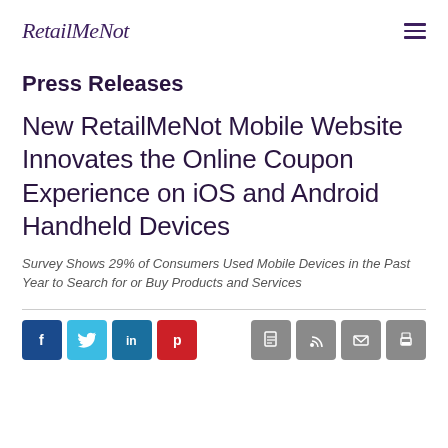RetailMeNot
Press Releases
New RetailMeNot Mobile Website Innovates the Online Coupon Experience on iOS and Android Handheld Devices
Survey Shows 29% of Consumers Used Mobile Devices in the Past Year to Search for or Buy Products and Services